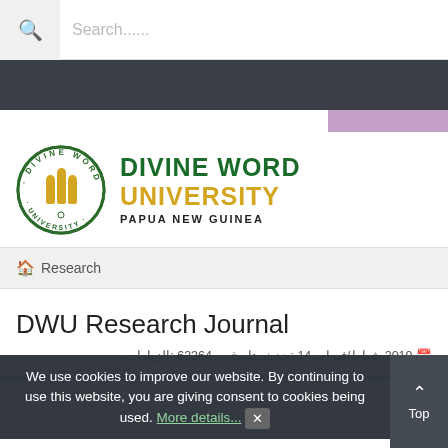Search......
[Figure (logo): Divine Word University circular logo with gold emblem and green border text, accompanied by text 'DIVINE WORD UNIVERSITY PAPUA NEW GUINEA']
🏠 Research
DWU Research Journal
الزيارات: 62364   حدث بتاريخ: 14 شباط/فبراير 2019
Current Issue
Past Issues
We use cookies to improve our website. By continuing to use this website, you are giving consent to cookies being used. More details... ✕